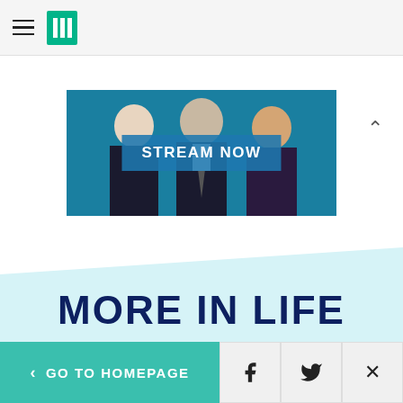HuffPost header with hamburger menu and logo
[Figure (screenshot): Advertisement banner showing three people in business attire against a blue background with a 'STREAM NOW' button]
MORE IN LIFE
[Figure (photo): Bottom strip showing a fuzzy/fur texture in brown tones with white area on the left]
< GO TO HOMEPAGE | Facebook share | Twitter share | Close